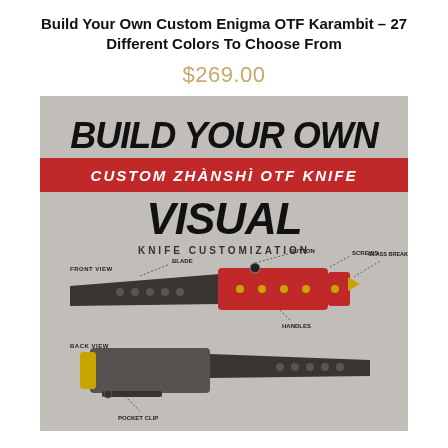Build Your Own Custom Enigma OTF Karambit – 27 Different Colors To Choose From
$269.00
[Figure (illustration): Product customization graphic showing a custom OTF knife with labeled parts: FRONT VIEW, BLADE, BUTTON, SCREWS, GLASS BREAKER, HANDLES, BACK VIEW, POCKET CLIP. Text overlays read BUILD YOUR OWN, CUSTOM ZHÀNSHÌ OTF KNIFE, VISUAL, KNIFE CUSTOMIZATION. The knife handle is shown in red with gold screws.]